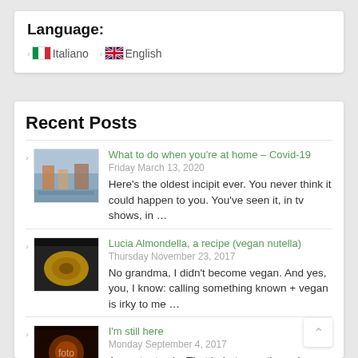Language:
Italiano
English
Recent Posts
What to do when you're at home – Covid-19 | Friday March 13, 2020 | Here's the oldest incipit ever. You never think it could happen to you. You've seen it, in tv shows, in …
Lucia Almondella, a recipe (vegan nutella) | Thursday November 23, 2017 | No grandma, I didn't become vegan. And yes, you, I know: calling something known + vegan is irky to me …
I'm still here | Monday September 4, 2017 | A quarter to six. That in-between time when everything…